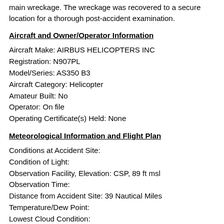main wreckage. The wreckage was recovered to a secure location for a thorough post-accident examination.
Aircraft and Owner/Operator Information
Aircraft Make: AIRBUS HELICOPTERS INC
Registration: N907PL
Model/Series: AS350 B3
Aircraft Category: Helicopter
Amateur Built: No
Operator: On file
Operating Certificate(s) Held: None
Meteorological Information and Flight Plan
Conditions at Accident Site:
Condition of Light:
Observation Facility, Elevation: CSP, 89 ft msl
Observation Time:
Distance from Accident Site: 39 Nautical Miles
Temperature/Dew Point:
Lowest Cloud Condition: